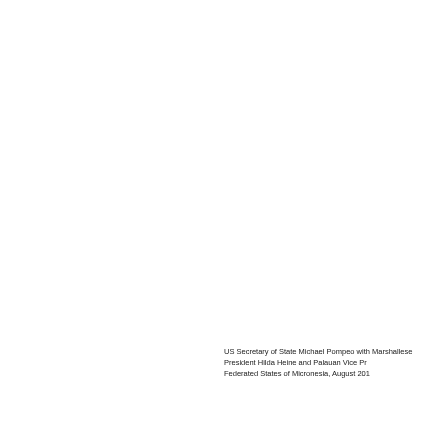US Secretary of State Michael Pompeo with Marshallese President Hilda Heine and Palauan Vice President and Federated States of Micronesia, August 2019